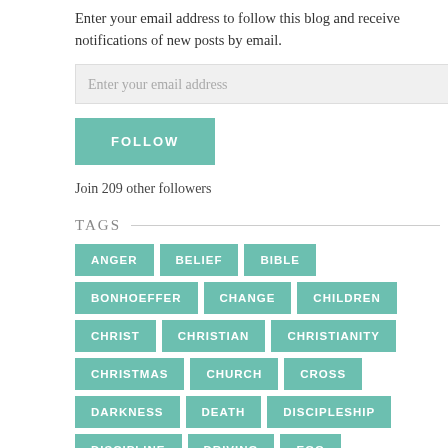Enter your email address to follow this blog and receive notifications of new posts by email.
Enter your email address
FOLLOW
Join 209 other followers
TAGS
ANGER
BELIEF
BIBLE
BONHOEFFER
CHANGE
CHILDREN
CHRIST
CHRISTIAN
CHRISTIANITY
CHRISTMAS
CHURCH
CROSS
DARKNESS
DEATH
DISCIPLESHIP
DISCIPLINE
DRIVING
EGO
EPHESIANS 2